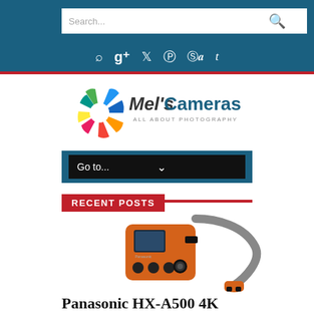Search...
[Figure (logo): Mel's Cameras - All About Photography logo with colorful aperture/lens icon and italic brand name]
Go to...
RECENT POSTS
[Figure (photo): Panasonic HX-A500 4K action camera in orange with flexible mount cable]
Panasonic HX-A500 4K